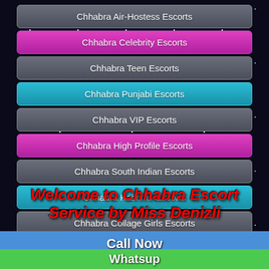Chhabra Air-Hostess Escorts
Chhabra Celebrity Escorts
Chhabra Teen Escorts
Chhabra Punjabi Escorts
Chhabra VIP Escorts
Chhabra High Profile Escorts
Chhabra South Indian Escorts
Chhabra Kashmir Escorts
Chhabra Collage Girls Escorts
Welcome to Chhabra Escort Service by Miss Denizli
Call Now
Whatsup